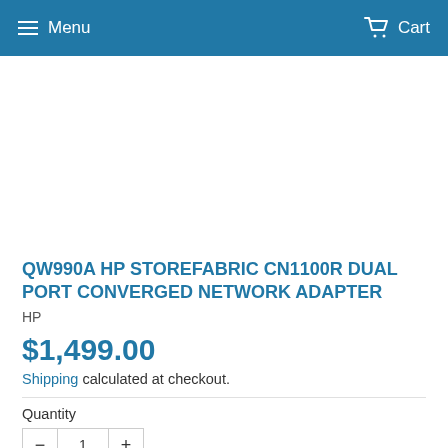Menu   Cart
[Figure (photo): Product image area (blank/white placeholder for HP StoreFabric CN1100R adapter)]
QW990A HP STOREFABRIC CN1100R DUAL PORT CONVERGED NETWORK ADAPTER
HP
$1,499.00
Shipping calculated at checkout.
Quantity